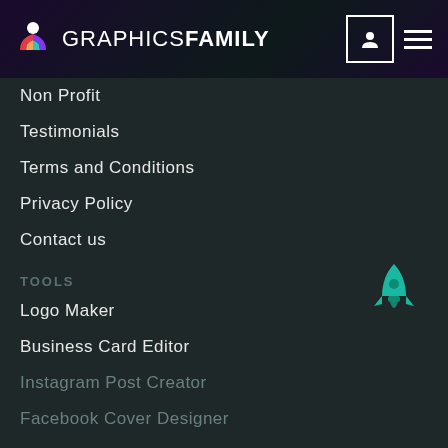GraphicsFamily
Non Profit
Testimonials
Terms and Conditions
Privacy Policy
Contact us
TOOLS
Logo Maker
Business Card Editor
Instagram Post Creator
Facebook Cover Designer
COMMUNITY
Sell Your Art
Submission Guidelines